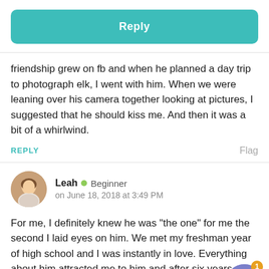[Figure (other): Reply button — teal rounded rectangle with white bold text 'Reply']
friendship grew on fb and when he planned a day trip to photograph elk, I went with him. When we were leaning over his camera together looking at pictures, I suggested that he should kiss me. And then it was a bit of a whirlwind.
REPLY   Flag
[Figure (illustration): Round avatar photo of user Leah — woman in floral top]
Leah • Beginner
on June 18, 2018 at 3:49 PM
For me, I definitely knew he was "the one" for me the second I laid eyes on him. We met my freshman year of high school and I was instantly in love. Everything about him attracted me to him and after six years of back and forth dating/friendship/hating each other we finally realized we were meant for each other.
[Figure (illustration): Circular notification icon with purple background showing cartoon female avatar wearing hijab, with orange badge showing number 1]